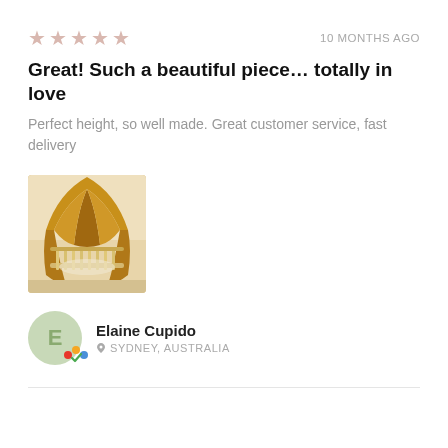[Figure (other): Five pink/rose star rating icons]
10 MONTHS AGO
Great! Such a beautiful piece… totally in love
Perfect height, so well made. Great customer service, fast delivery
[Figure (photo): Photo of a baby crib with a golden/mustard yellow canopy draped overhead, warm beige nursery room background]
Elaine Cupido
SYDNEY, AUSTRALIA